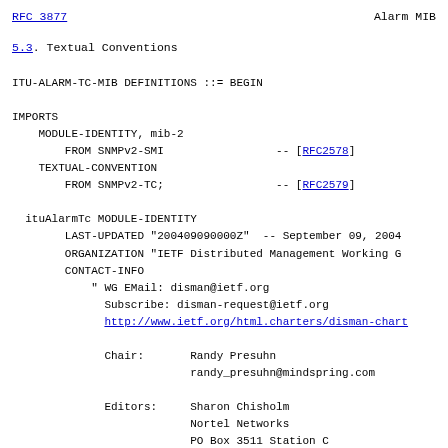RFC 3877                        Alarm MIB
5.3.  Textual Conventions
ITU-ALARM-TC-MIB DEFINITIONS ::= BEGIN

IMPORTS
    MODULE-IDENTITY, mib-2
        FROM SNMPv2-SMI                 -- [RFC2578]
    TEXTUAL-CONVENTION
        FROM SNMPv2-TC;                 -- [RFC2579]

  ituAlarmTc MODULE-IDENTITY
        LAST-UPDATED "200409090000Z"  -- September 09, 2004
        ORGANIZATION "IETF Distributed Management Working G
        CONTACT-INFO
            " WG EMail: disman@ietf.org
             Subscribe: disman-request@ietf.org
             http://www.ietf.org/html.charters/disman-char

             Chair:       Randy Presuhn
                          randy_presuhn@mindspring.com

             Editors:     Sharon Chisholm
                          Nortel Networks
                          PO Box 3511 Station C
                          Ottawa, Ont.  K1Y 4H7
                          Canada